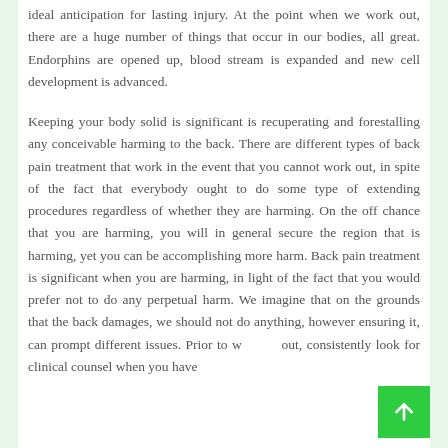ideal anticipation for lasting injury. At the point when we work out, there are a huge number of things that occur in our bodies, all great. Endorphins are opened up, blood stream is expanded and new cell development is advanced.
Keeping your body solid is significant is recuperating and forestalling any conceivable harming to the back. There are different types of back pain treatment that work in the event that you cannot work out, in spite of the fact that everybody ought to do some type of extending procedures regardless of whether they are harming. On the off chance that you are harming, you will in general secure the region that is harming, yet you can be accomplishing more harm. Back pain treatment is significant when you are harming, in light of the fact that you would prefer not to do any perpetual harm. We imagine that on the grounds that the back damages, we should not do anything, however ensuring it, can prompt different issues. Prior to working out, consistently look for clinical counsel when you have back damages. They will devise a program that is